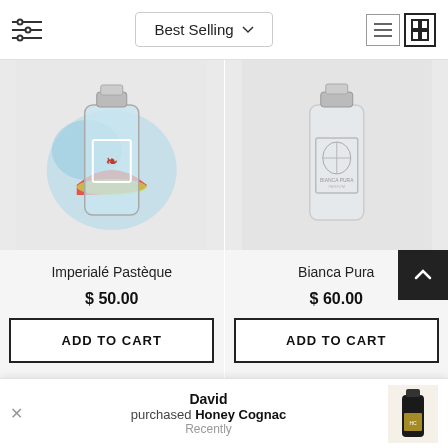Best Selling
[Figure (photo): Perfume bottle with watermelon/fruit design and blue splashing water background - Imperialé Pastèque]
[Figure (photo): Clear glass perfume bottle with floral engraving - Bianca Pura]
Imperialé Pastèque
Bianca Pura
$ 50.00
$ 60.00
ADD TO CART
ADD TO CART
David purchased Honey Cognac Recently